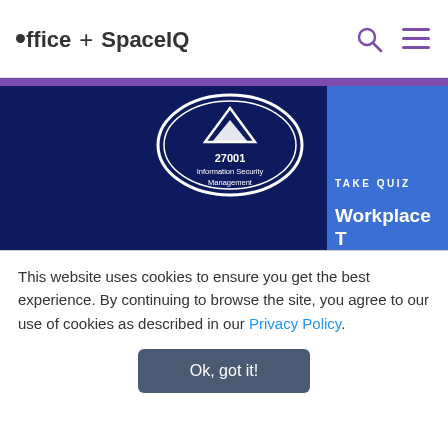ioffice + SpaceIQ
[Figure (logo): ISO 27001 Information Security Management certification badge, circular white badge on dark blue background]
TAKE QUIZ
Workplace T Assessment
Products
iOFFICE
ManagerPlus
Hippo CMMS
Is your workpl you back? Take assessment fo report.
This website uses cookies to ensure you get the best experience. By continuing to browse the site, you agree to our use of cookies as described in our Privacy Policy.
Ok, got it!